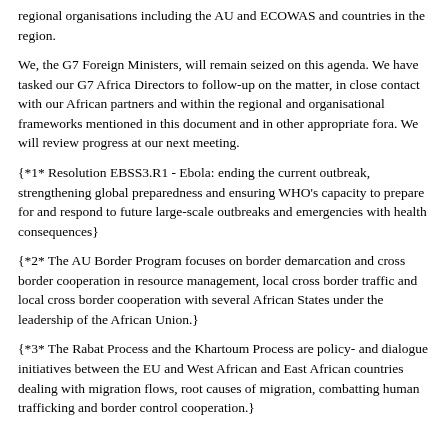regional organisations including the AU and ECOWAS and countries in the region.
We, the G7 Foreign Ministers, will remain seized on this agenda. We have tasked our G7 Africa Directors to follow-up on the matter, in close contact with our African partners and within the regional and organisational frameworks mentioned in this document and in other appropriate fora. We will review progress at our next meeting.
{*1* Resolution EBSS3.R1 - Ebola: ending the current outbreak, strengthening global preparedness and ensuring WHO's capacity to prepare for and respond to future large-scale outbreaks and emergencies with health consequences}
{*2* The AU Border Program focuses on border demarcation and cross border cooperation in resource management, local cross border traffic and local cross border cooperation with several African States under the leadership of the African Union.}
{*3* The Rabat Process and the Khartoum Process are policy- and dialogue initiatives between the EU and West African and East African countries dealing with migration flows, root causes of migration, combatting human trafficking and border control cooperation.}